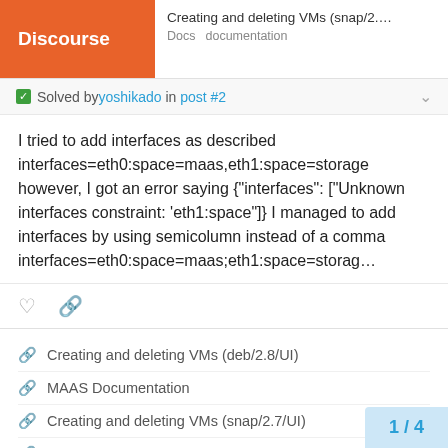Discourse | Creating and deleting VMs (snap/2.... | Docs  documentation
✅ Solved by yoshikado in post #2
I tried to add interfaces as described interfaces=eth0:space=maas,eth1:space=storage however, I got an error saying {"interfaces": ["Unknown interfaces constraint: 'eth1:space"]} I managed to add interfaces by using semicolumn instead of a comma interfaces=eth0:space=maas;eth1:space=storag…
Creating and deleting VMs (deb/2.8/UI)
MAAS Documentation
Creating and deleting VMs (snap/2.7/UI)
Creating and deleting VMs (deb/2.7/CLI)
Creating and deleting VMs (deb/2.7/U…
1 / 4